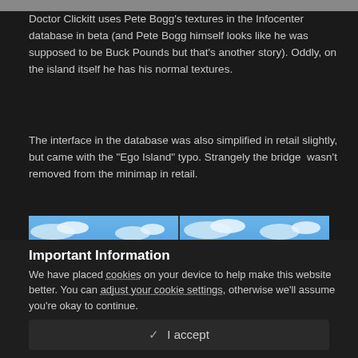Doctor Clickitt uses Pete Bogg's textures in the Infocenter database in beta (and Pete Bogg himself looks like he was supposed to be Buck Pounds but that's another story). Oddly, on the island itself he has his normal textures.
The interface in the database was also simplified in retail slightly, but came with the "Ego Island" typo. Strangely the bridge  wasn't removed from the minimap in retail.
[Figure (screenshot): Two side-by-side screenshots of a game interface showing blue sky, HUD elements with 1/9 counter, 1000 score on left and 0000 on right, and 1/9 with heart icon.]
Important Information
We have placed cookies on your device to help make this website better. You can adjust your cookie settings, otherwise we'll assume you're okay to continue.
✓ I accept